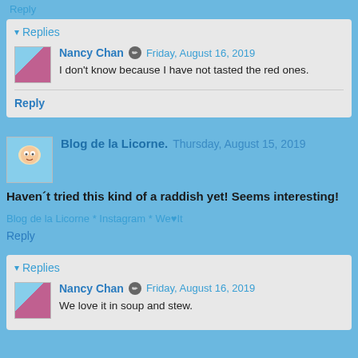Reply
▾ Replies
Nancy Chan  Friday, August 16, 2019
I don't know because I have not tasted the red ones.
Reply
Blog de la Licorne.  Thursday, August 15, 2019
Haven´t tried this kind of a raddish yet! Seems interesting!
Blog de la Licorne * Instagram * We♥It
Reply
▾ Replies
Nancy Chan  Friday, August 16, 2019
We love it in soup and stew.